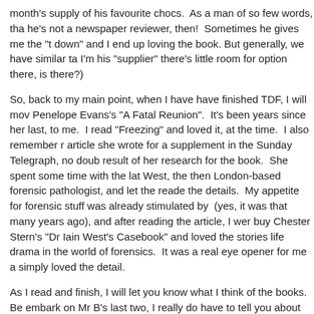month's supply of his favourite chocs.  As a man of so few words, tha he's not a newspaper reviewer, then!  Sometimes he gives me the "t down" and I end up loving the book. But generally, we have similar ta I'm his "supplier" there's little room for option there, is there?)
So, back to my main point, when I have have finished TDF, I will mov Penelope Evans's "A Fatal Reunion".  It's been years since her last, to me.  I read "Freezing" and loved it, at the time.  I also remember r article she wrote for a supplement in the Sunday Telegraph, no doub result of her research for the book.  She spent some time with the lat West, the then London-based forensic pathologist, and let the reade the details.  My appetite for forensic stuff was already stimulated by  (yes, it was that many years ago), and after reading the article, I wer buy Chester Stern's "Dr Iain West's Casebook" and loved the stories life drama in the world of forensics.  It was a real eye opener for me a simply loved the detail.
As I read and finish, I will let you know what I think of the books.  Be embark on Mr B's last two, I really do have to tell you about another author, though.  He's/his protagonist is a favourite of mine and he ge category of "everything stops for..."  I read the latest earlier this year indeed, "everything stopped for" this book.  I so enjoyed it.  I've now